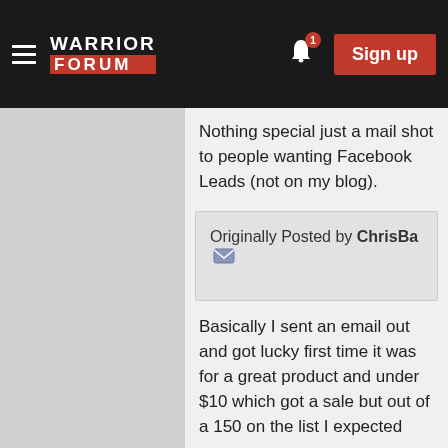Warrior Forum — Navigation bar with hamburger menu, logo, bell notification (1), and Sign up button
Nothing special just a mail shot to people wanting Facebook Leads (not on my blog).
Originally Posted by ChrisBa
Basically I sent an email out and got lucky first time it was for a great product and under $10 which got a sale but out of a 150 on the list I expected more.
Thank this user · Reply